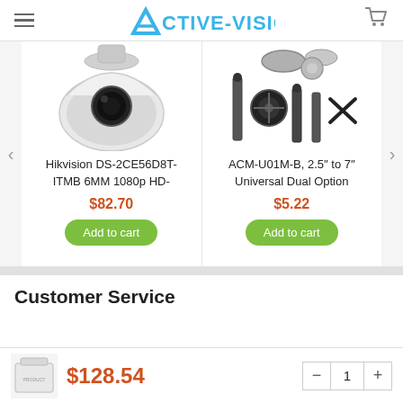Active-Vision
[Figure (photo): Hikvision dome camera product image (top portion visible)]
[Figure (photo): ACM-U01M-B mounting hardware components]
Hikvision DS-2CE56D8T-ITMB 6MM 1080p HD-
$82.70
ACM-U01M-B, 2.5″ to 7″ Universal Dual Option
$5.22
Customer Service
$128.54
[Figure (photo): Small product box image at bottom]